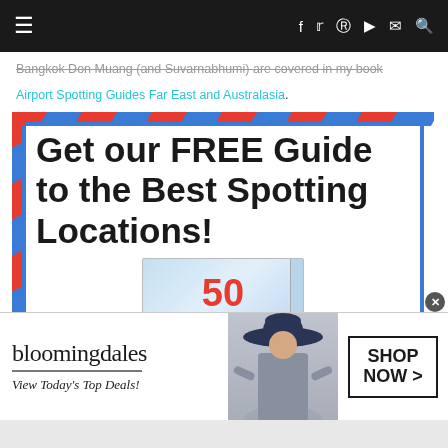≡  f  t  𝑝  ▶  ✉  🔍
Bangkok Don Muang (and Suvarnabhumi) are covered in my book
Airport Spotting Guides Far East and Australasia.
[Figure (infographic): Airmail-bordered promotional box with text 'Get our FREE Guide to the Best Spotting Locations!' and a partially visible book cover showing '50']
[Figure (infographic): Bloomingdales advertisement banner with logo, 'View Today's Top Deals!', model in hat, and 'SHOP NOW >' button]